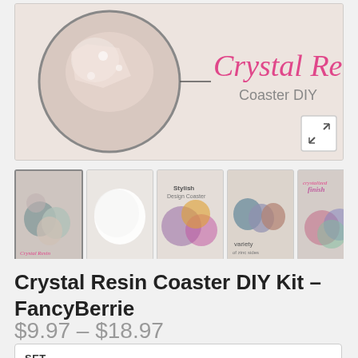[Figure (photo): Product main image showing Crystal Resin Coaster DIY with a circular close-up of crystal resin, pink cursive text 'Crystal Resin' and gray text 'Coaster DIY', plus a zoom expand icon]
[Figure (photo): Thumbnail strip showing 6 product images: coasters set, single white coaster, stylish design coasters, variety of colors, crystalized finish, and colorful coaster stack]
Crystal Resin Coaster DIY Kit – FancyBerrie
$9.97 – $18.97
| SET |
| --- |
| Coaster Mold |